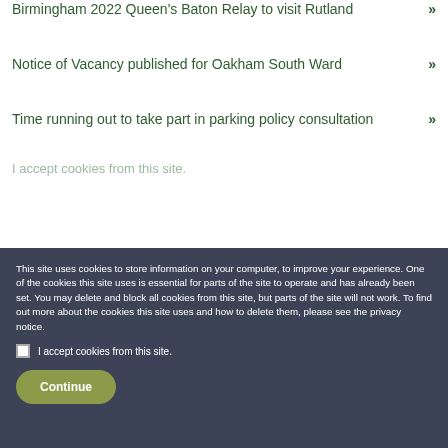Birmingham 2022 Queen's Baton Relay to visit Rutland »
Notice of Vacancy published for Oakham South Ward »
Time running out to take part in parking policy consultation »
I accept cookies from this site.
This site uses cookies to store information on your computer, to improve your experience. One of the cookies this site uses is essential for parts of the site to operate and has already been set. You may delete and block all cookies from this site, but parts of the site will not work. To find out more about the cookies this site uses and how to delete them, please see the privacy notice.
Continue